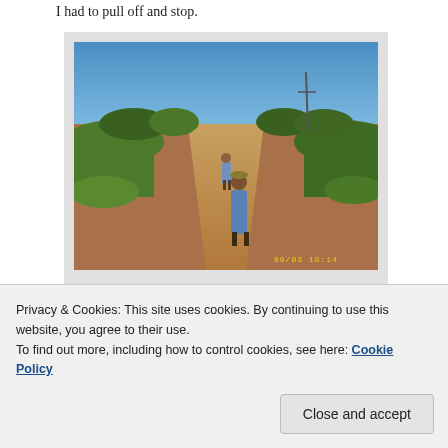I had to pull off and stop.
[Figure (photo): Two people walking along a wide sandy dirt road in a rural African setting. The road stretches into the distance flanked by green bushes and trees under a clear blue sky. A utility pole is visible in the background. A digital camera timestamp appears in yellow in the lower right corner.]
— Digital Camera.
Privacy & Cookies: This site uses cookies. By continuing to use this website, you agree to their use.
To find out more, including how to control cookies, see here: Cookie Policy